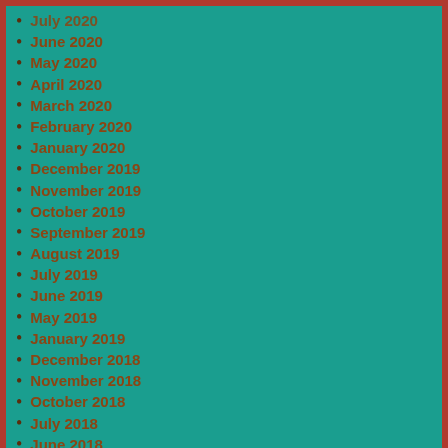July 2020
June 2020
May 2020
April 2020
March 2020
February 2020
January 2020
December 2019
November 2019
October 2019
September 2019
August 2019
July 2019
June 2019
May 2019
January 2019
December 2018
November 2018
October 2018
July 2018
June 2018
May 2018
March 2018
January 2018
December 2017
November 2017